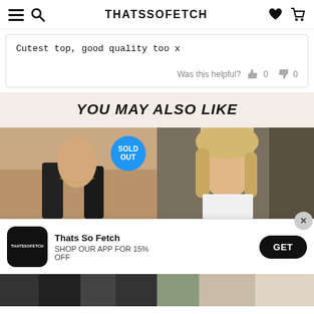THATSSOFETCH
Cutest top, good quality too x
Was this helpful? 0 0
YOU MAY ALSO LIKE
[Figure (photo): Product photo of a black top/swimwear with a SOLD OUT badge]
[Figure (photo): Product photo of a blonde woman in fashion clothing]
Thats So Fetch
SHOP OUR APP FOR 15% OFF
GET